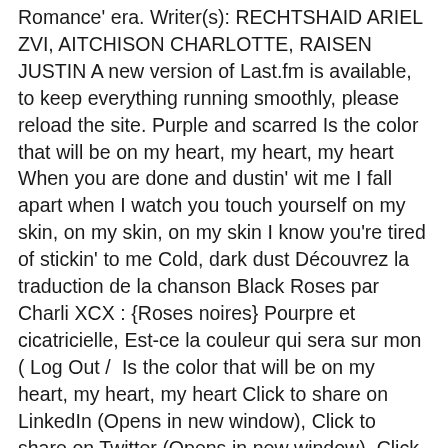Romance' era. Writer(s): RECHTSHAID ARIEL ZVI, AITCHISON CHARLOTTE, RAISEN JUSTIN A new version of Last.fm is available, to keep everything running smoothly, please reload the site. Purple and scarred Is the color that will be on my heart, my heart, my heart When you are done and dustin' wit me I fall apart when I watch you touch yourself on my skin, on my skin, on my skin I know you're tired of stickin' to me Cold, dark dust Découvrez la traduction de la chanson Black Roses par Charli XCX : {Roses noires} Pourpre et cicatricielle, Est-ce la couleur qui sera sur mon ( Log Out /  Is the color that will be on my heart, my heart, my heart Click to share on LinkedIn (Opens in new window), Click to share on Twitter (Opens in new window), Click to share on Facebook (Opens in new window), Click to share on Tumblr (Opens in new window), Click to email this to a friend (Opens in new window), Brand New Demo Reel July 2016 | Aijalon Films. I won't praise a man to fuck but you keep turnin' me on CHARLI XCX BLACK ROSES LYRIC VIDEO NO